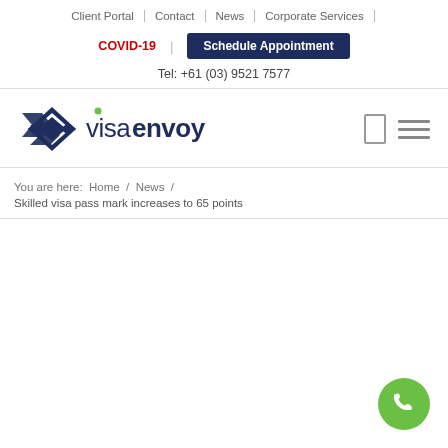Client Portal | Contact | News | Corporate Services |
COVID-19 | Schedule Appointment
Tel: +61 (03) 9521 7577
[Figure (logo): Visa Envoy logo with dark blue diamond chevron icon and text 'visaenvoy']
You are here: Home / News / Skilled visa pass mark increases to 65 points